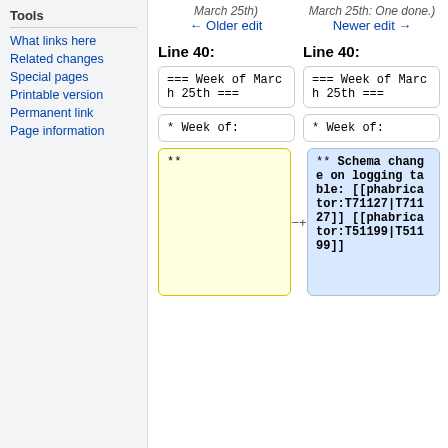← Older edit | Newer edit →
Tools
What links here
Related changes
Special pages
Printable version
Permanent link
Page information
Line 40: (left) === Week of March 25th ===
Line 40: (right) === Week of March 25th ===
* Week of: (left)
* Week of: (right)
** (left, empty/removed)
** Schema change on logging table: [[phabricator:T71127|T71127]] [[phabricator:T51199|T51199]] (right, added)